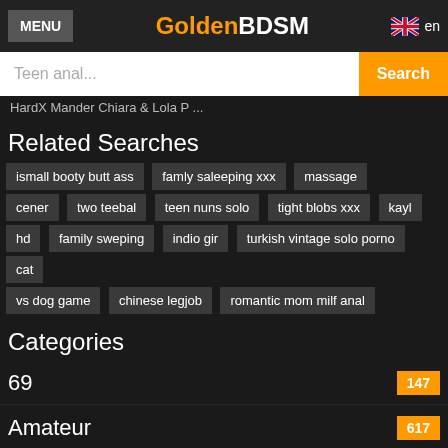MENU | GoldenBDSM | en
Teen anal...
HardX Manger Chiara & Lola P...
Related Searches
ismall booty butt ass
famly saleeping xxx
massage cener
two teebal
teen nuns solo
tight blobs xxx
kayl hd
family sweping
indio gir
turkish vintage solo porno
cat vs dog game
chinese legjob
romantic mom milf anal
Categories
69
147
Amateur
617
Anal
507